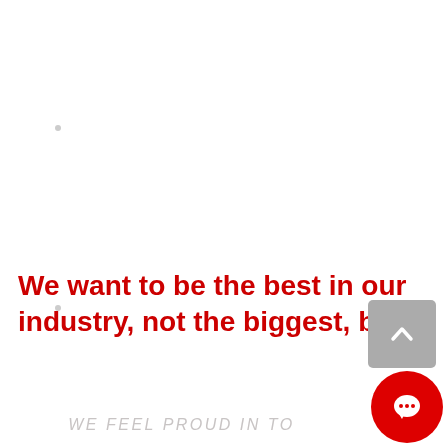We want to be the best in our industry, not the biggest, but
WE FEEL PROUD IN TO